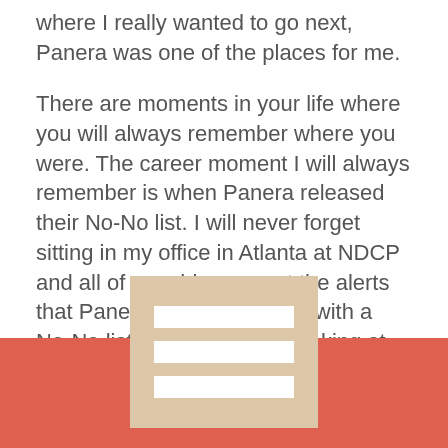where I really wanted to go next, Panera was one of the places for me.
There are moments in your life where you will always remember where you were. The career moment I will always remember is when Panera released their No-No list. I will never forget sitting in my office in Atlanta at NDCP and all of a sudden we got the alerts that Panera was coming out with a No-No list. It was groundbreaking at the time and we all knew it was going to lead to a significant shift in the way the food industry and our food offering worked, and that really stayed with me. So when Panera knocked on my door I had to open it. There wasn't a m
[Figure (other): Red/coral footer bar with a hamburger menu icon (three white horizontal lines on a tan/beige background rectangle) centered in the lower portion of the page]